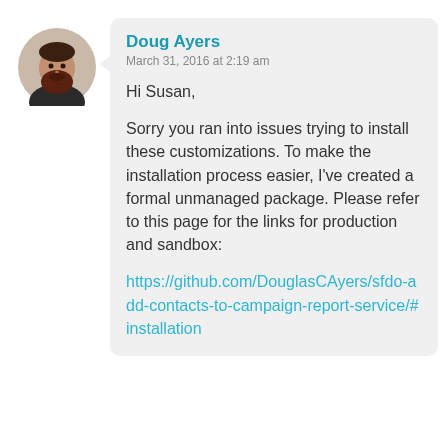[Figure (photo): Circular avatar photo of a man with a beard, dark hair, wearing a dark shirt, against a light background.]
Doug Ayers
March 31, 2016 at 2:19 am

Hi Susan,

Sorry you ran into issues trying to install these customizations. To make the installation process easier, I've created a formal unmanaged package. Please refer to this page for the links for production and sandbox:

https://github.com/DouglasCAyers/sfdo-add-contacts-to-campaign-report-service/#installation